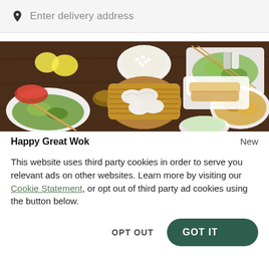Enter delivery address
[Figure (photo): Overhead photo of Chinese food dishes: stir-fried vegetables, rice, dumplings in bamboo steamer, fried rice, spring rolls, and various sauces with chopsticks on a dark wooden table.]
Happy Great Wok
New
This website uses third party cookies in order to serve you relevant ads on other websites. Learn more by visiting our Cookie Statement, or opt out of third party ad cookies using the button below.
OPT OUT
GOT IT